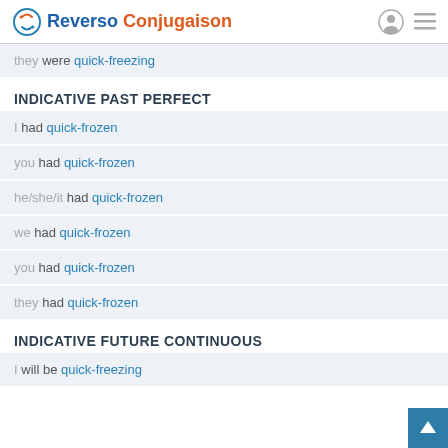Reverso Conjugaison
they were quick-freezing
INDICATIVE PAST PERFECT
I had quick-frozen
you had quick-frozen
he/she/it had quick-frozen
we had quick-frozen
you had quick-frozen
they had quick-frozen
INDICATIVE FUTURE CONTINUOUS
I will be quick-freezing